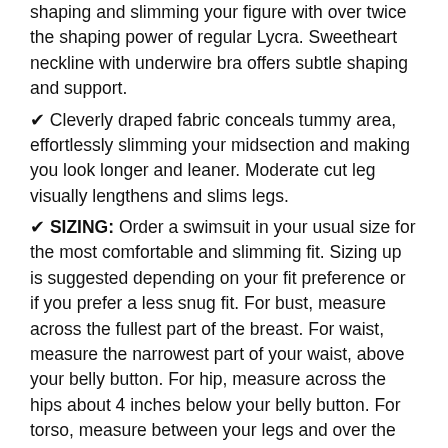shaping and slimming your figure with over twice the shaping power of regular Lycra. Sweetheart neckline with underwire bra offers subtle shaping and support.
✔ Cleverly draped fabric conceals tummy area, effortlessly slimming your midsection and making you look longer and leaner. Moderate cut leg visually lengthens and slims legs.
✔ SIZING: Order a swimsuit in your usual size for the most comfortable and slimming fit. Sizing up is suggested depending on your fit preference or if you prefer a less snug fit. For bust, measure across the fullest part of the breast. For waist, measure the narrowest part of your waist, above your belly button. For hip, measure across the hips about 4 inches below your belly button. For torso, measure between your legs and over the top of the shoulder. REFER TO SIZE CHART ON LEFT.
✔ After each use, hand wash your Miraclesuit in cool, clear water and hang to dry. Do not use chlorine